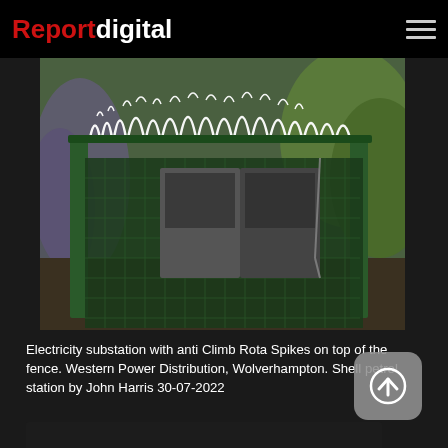Reportdigital
[Figure (photo): Electricity substation enclosed in a dark green metal mesh fence with white anti-climb Rota Spikes mounted on top, surrounded by vegetation]
Electricity substation with anti Climb Rota Spikes on top of the fence. Western Power Distribution, Wolverhampton. Shell petrol station by John Harris 30-07-2022
[Figure (photo): Partially visible dark background photo area at bottom of page]